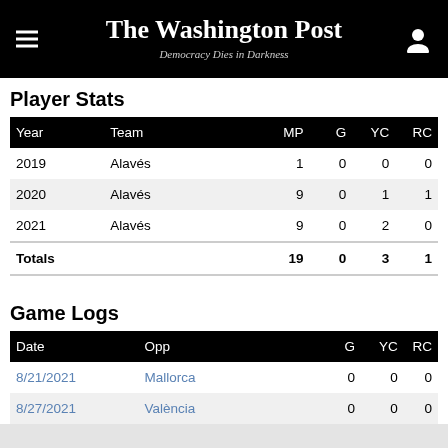The Washington Post — Democracy Dies in Darkness
Player Stats
| Year | Team | MP | G | YC | RC |
| --- | --- | --- | --- | --- | --- |
| 2019 | Alavés | 1 | 0 | 0 | 0 |
| 2020 | Alavés | 9 | 0 | 1 | 1 |
| 2021 | Alavés | 9 | 0 | 2 | 0 |
| Totals |  | 19 | 0 | 3 | 1 |
Game Logs
| Date | Opp | G | YC | RC |
| --- | --- | --- | --- | --- |
| 8/21/2021 | Mallorca | 0 | 0 | 0 |
| 8/27/2021 | València | 0 | 0 | 0 |